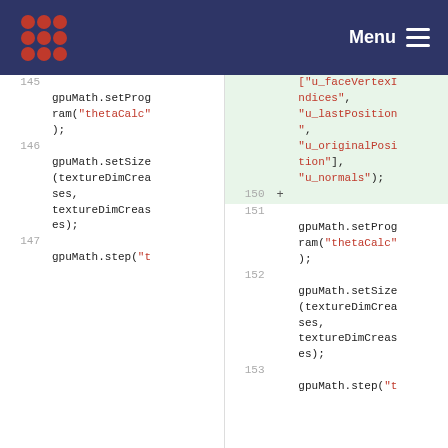Menu
[Figure (screenshot): Code diff view showing two columns of JavaScript/GLSL code. Left panel shows lines 145-147 with gpuMath calls. Right panel shows lines 150-153, with highlighted diff block showing array of uniform names and gpuMath calls.]